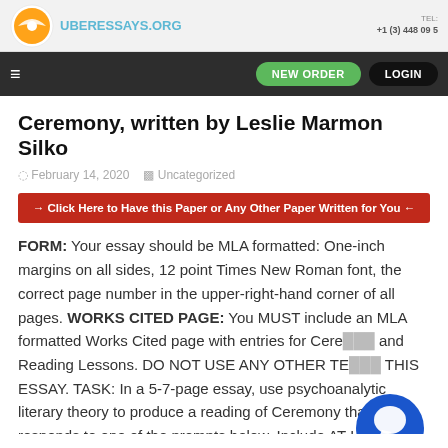UBERESSAYS.ORG | +1 (3) 448 09 5
Ceremony, written by Leslie Marmon Silko
February 14, 2020   Uncategorized
→ Click Here to Have this Paper or Any Other Paper Written for You ←
FORM: Your essay should be MLA formatted: One-inch margins on all sides, 12 point Times New Roman font, the correct page number in the upper-right-hand corner of all pages. WORKS CITED PAGE: You MUST include an MLA formatted Works Cited page with entries for Ceremony and Reading Lessons. DO NOT USE ANY OTHER TE... THIS ESSAY. TASK: In a 5-7-page essay, use psychoanalytic literary theory to produce a reading of Ceremony that responds to one of the prompts below. Include AT LEAST